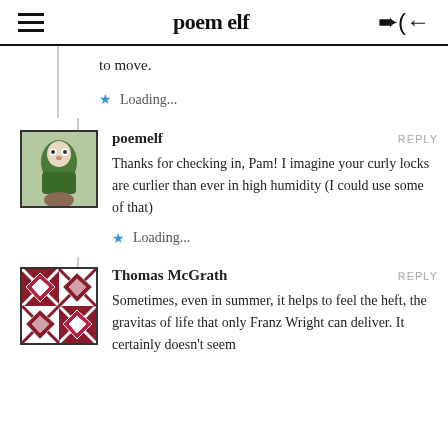poem elf
to move.
Loading...
poemelf
Thanks for checking in, Pam! I imagine your curly locks are curlier than ever in high humidity (I could use some of that)
Loading...
Thomas McGrath
Sometimes, even in summer, it helps to feel the heft, the gravitas of life that only Franz Wright can deliver. It certainly doesn't seem